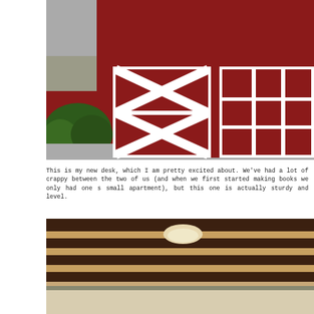[Figure (photo): Exterior of a red-shingled building with two white-framed garage doors. The left door has X-pattern diagonal boards; the right is a grid-panel door. Shrubs visible on the left, concrete driveway in front.]
This is my new desk, which I am pretty excited about. We've had a lot of crappy between the two of us (and when we first started making books we only had one s small apartment), but this one is actually sturdy and level.
[Figure (photo): Interior ceiling view showing dark wooden exposed beams and a dome ceiling light fixture. Cream-colored walls visible below the beams.]